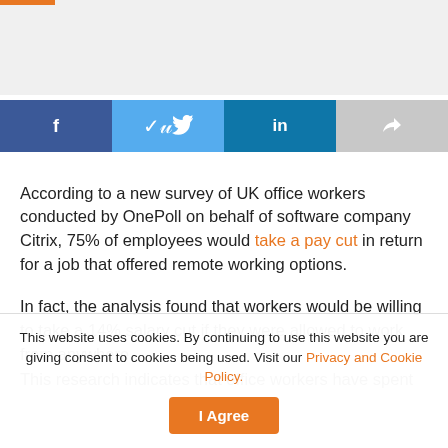[Figure (other): Gray placeholder image area at the top of the page]
[Figure (infographic): Social share buttons row: Facebook (blue), Twitter (light blue), LinkedIn (teal), Share (gray)]
According to a new survey of UK office workers conducted by OnePoll on behalf of software company Citrix, 75% of employees would take a pay cut in return for a job that offered remote working options.
In fact, the analysis found that workers would be willing to take a 14% salary cut if they were allowed to work from anywhere.
This research indicates that office workers have spent the
This website uses cookies. By continuing to use this website you are giving consent to cookies being used. Visit our Privacy and Cookie Policy.